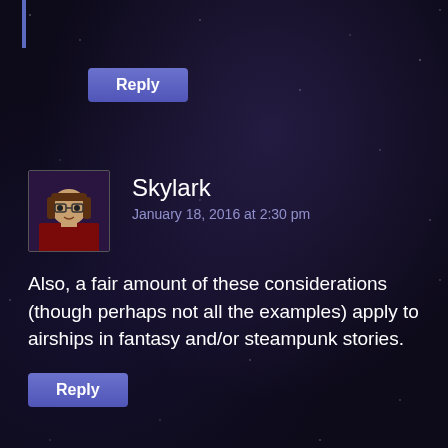[Figure (screenshot): Dark starry night sky background with purple nebula glow]
Reply
Skylark
January 18, 2016 at 2:30 pm
Also, a fair amount of these considerations (though perhaps not all the examples) apply to airships in fantasy and/or steampunk stories.
Reply
SRM